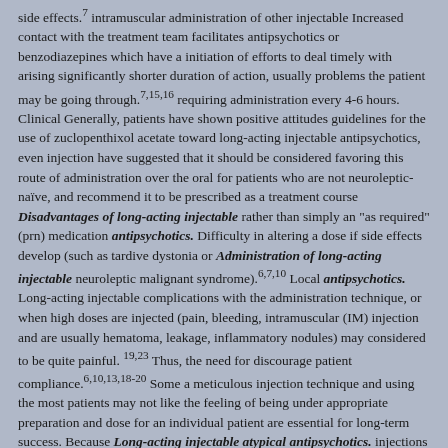side effects.7 intramuscular administration of other injectable Increased contact with the treatment team facilitates antipsychotics or benzodiazepines which have a initiation of efforts to deal timely with arising significantly shorter duration of action, usually problems the patient may be going through.7,15,16 requiring administration every 4-6 hours. Clinical Generally, patients have shown positive attitudes guidelines for the use of zuclopenthixol acetate toward long-acting injectable antipsychotics, even injection have suggested that it should be considered favoring this route of administration over the oral for patients who are not neuroleptic-naïve, and recommend it to be prescribed as a treatment course Disadvantages of long-acting injectable rather than simply an "as required" (prn) medication antipsychotics. Difficulty in altering a dose if side effects develop (such as tardive dystonia or Administration of long-acting injectable neuroleptic malignant syndrome).6,7,10 Local antipsychotics. Long-acting injectable complications with the administration technique, or when high doses are injected (pain, bleeding, intramuscular (IM) injection and are usually hematoma, leakage, inflammatory nodules) may considered to be quite painful. 19,23 Thus, the need for discourage patient compliance.6,10,13,18-20 Some a meticulous injection technique and using the most patients may not like the feeling of being under appropriate preparation and dose for an individual patient are essential for long-term success. Because Long-acting injectable atypical antipsychotics. injections are painful, less-frequent administration is Atypical antipsychotics have been reported to have also desirable.10